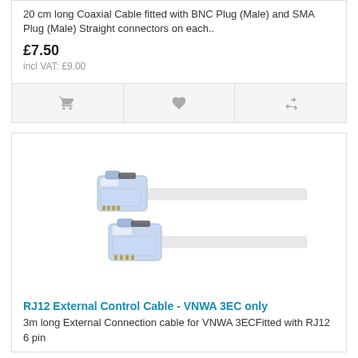20 cm long Coaxial Cable fitted with BNC Plug (Male) and SMA Plug (Male) Straight connectors on each..
£7.50
incl VAT: £9.00
[Figure (photo): Two RJ12 cable connectors (crystal/blue plastic modular plugs) each attached to a flat white cable, shown against white background]
RJ12 External Control Cable - VNWA 3EC only
3m long External Connection cable for VNWA 3ECFitted with RJ12 6 pin